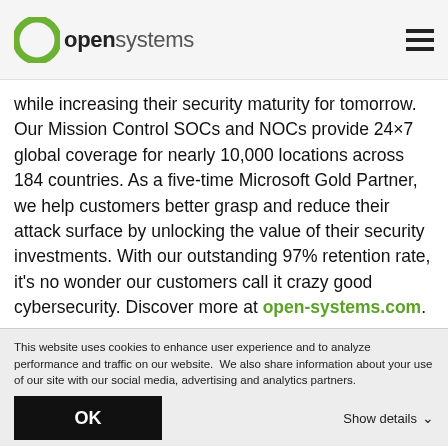open systems
while increasing their security maturity for tomorrow. Our Mission Control SOCs and NOCs provide 24×7 global coverage for nearly 10,000 locations across 184 countries. As a five-time Microsoft Gold Partner, we help customers better grasp and reduce their attack surface by unlocking the value of their security investments. With our outstanding 97% retention rate, it's no wonder our customers call it crazy good cybersecurity. Discover more at open-systems.com.
This website uses cookies to enhance user experience and to analyze performance and traffic on our website.  We also share information about your use of our site with our social media, advertising and analytics partners.